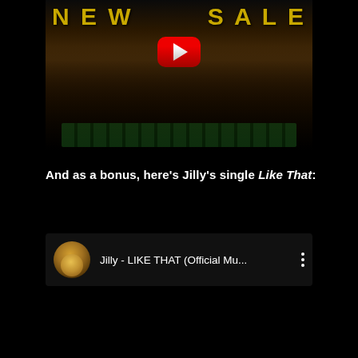[Figure (screenshot): YouTube video thumbnail showing a music video still with golden text NEW SALE at the top and a YouTube play button overlay. A woman in a gold outfit sits surrounded by stacks of money.]
And as a bonus, here's Jilly's single Like That:
[Figure (screenshot): YouTube embedded video card showing avatar thumbnail and title: Jilly - LIKE THAT (Official Mu... with three-dot menu icon]